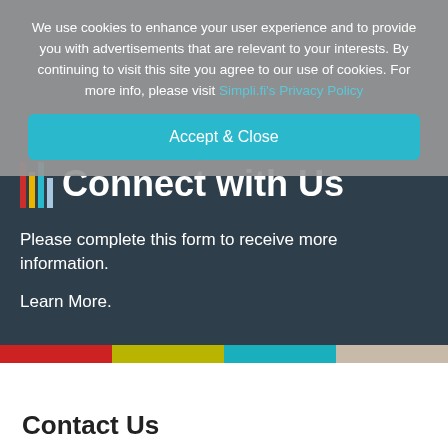We use cookies to enhance your user experience and to provide you with advertisements that are relevant to your interests. By continuing to visit this site you agree to our use of cookies. For more info, please visit Simpli.fi's Privacy Policy
Accept & Close
Connect with Us
Please complete this form to receive more information.
Learn More.
Contact Us